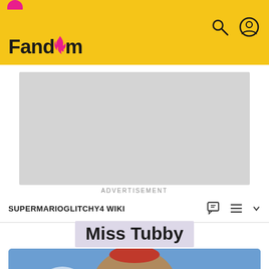Fandom
[Figure (screenshot): Advertisement placeholder gray box]
ADVERTISEMENT
SUPERMARIOGLITCHY4 WIKI
Miss Tubby
[Figure (photo): Miss Tubby character from SuperMarioGlitchy4, a large brown teddy-bear-like creature with a red hat, shown from behind against a blue sky background]